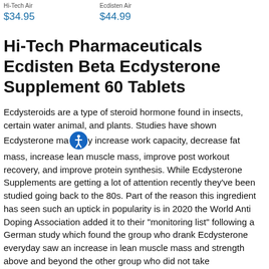Hi-Tech Air $34.95   Ecdisten Air $44.99
Hi-Tech Pharmaceuticals Ecdisten Beta Ecdysterone Supplement 60 Tablets
Ecdysteroids are a type of steroid hormone found in insects, certain water animal, and plants. Studies have shown Ecdysterone may increase work capacity, decrease fat mass, increase lean muscle mass, improve post workout recovery, and improve protein synthesis. While Ecdysterone Supplements are getting a lot of attention recently they've been studied going back to the 80s. Part of the reason this ingredient has seen such an uptick in popularity is in 2020 the World Anti Doping Association added it to their "monitoring list" following a German study which found the group who drank Ecdysterone everyday saw an increase in lean muscle mass and strength above and beyond the other group who did not take